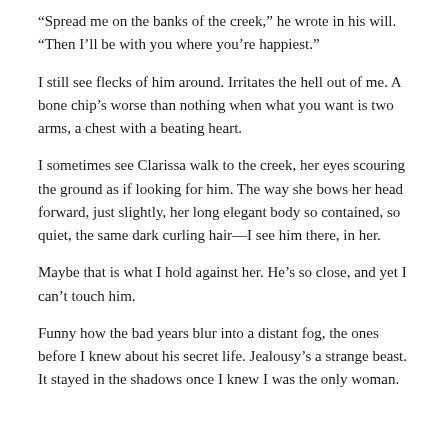“Spread me on the banks of the creek,” he wrote in his will. “Then I’ll be with you where you’re happiest.”
I still see flecks of him around. Irritates the hell out of me. A bone chip’s worse than nothing when what you want is two arms, a chest with a beating heart.
I sometimes see Clarissa walk to the creek, her eyes scouring the ground as if looking for him. The way she bows her head forward, just slightly, her long elegant body so contained, so quiet, the same dark curling hair—I see him there, in her.
Maybe that is what I hold against her. He’s so close, and yet I can’t touch him.
Funny how the bad years blur into a distant fog, the ones before I knew about his secret life. Jealousy’s a strange beast. It stayed in the shadows once I knew I was the only woman.